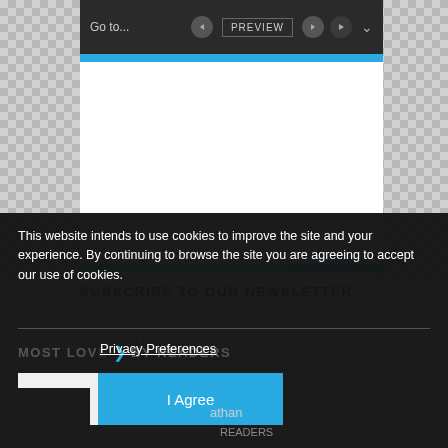[Figure (screenshot): Video player toolbar with Go to..., PREVIEW button, navigation arrows, and play button on dark background, with blue progress bar beneath]
SUBSCRIBE TO OUR NEWSLETTER
[Figure (screenshot): Email address input field in a white subscription form box]
This website intends to use cookies to improve the site and your experience. By continuing to browse the site you are agreeing to accept our use of cookies.
Privacy Preferences
MOST LOVED
BY READERS
I Agree
athan